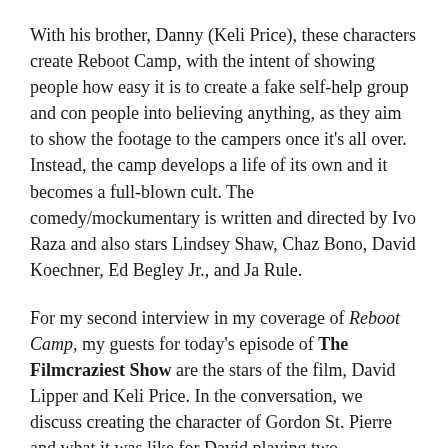With his brother, Danny (Keli Price), these characters create Reboot Camp, with the intent of showing people how easy it is to create a fake self-help group and con people into believing anything, as they aim to show the footage to the campers once it's all over. Instead, the camp develops a life of its own and it becomes a full-blown cult. The comedy/mockumentary is written and directed by Ivo Raza and also stars Lindsey Shaw, Chaz Bono, David Koechner, Ed Begley Jr., and Ja Rule.
For my second interview in my coverage of Reboot Camp, my guests for today's episode of The Filmcraziest Show are the stars of the film, David Lipper and Keli Price. In the conversation, we discuss creating the character of Gordon St. Pierre and what it was like for David playing two characters, we discuss their producer roles and what it was like getting all these